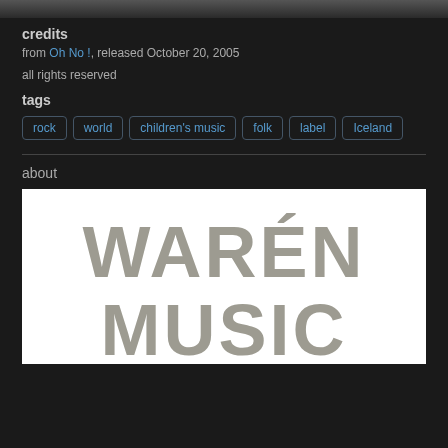credits
from Oh No !, released October 20, 2005
all rights reserved
tags
rock
world
children's music
folk
label
Iceland
about
[Figure (logo): Warén Music logo with distressed/grunge style typography on white background]